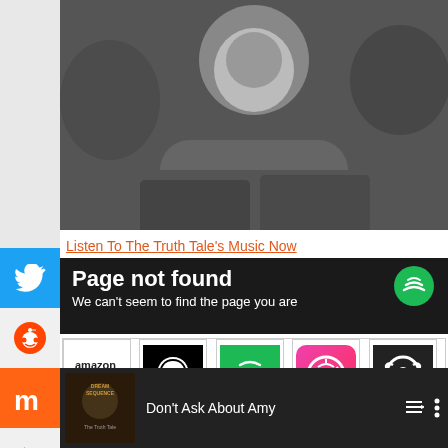[Figure (photo): Black and white photo of a person from the shoulders up, slightly cropped]
Listen To The Truth Tale's Music Now
[Figure (screenshot): Page not found error screen with Spotify logo badge: 'Page not found - We can't seem to find the page you are looking for']
[Figure (infographic): Grid of 10 music platform icons: Amazon, Apple Music, Spotify, iTunes/Apple Music pink, Napster, Deezer, iHeartRadio, Google, Tidal, The Truth Tale website]
[Figure (screenshot): Video player bar showing 'Don't Ask About Amy' track with album art (Dream Sequence / The Truth Tale) and MENTAL text, with playlist and more-options icons]